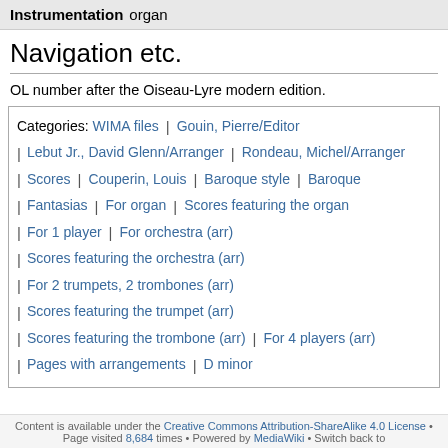Instrumentation organ
Navigation etc.
OL number after the Oiseau-Lyre modern edition.
Categories: WIMA files | Gouin, Pierre/Editor | Lebut Jr., David Glenn/Arranger | Rondeau, Michel/Arranger | Scores | Couperin, Louis | Baroque style | Baroque | Fantasias | For organ | Scores featuring the organ | For 1 player | For orchestra (arr) | Scores featuring the orchestra (arr) | For 2 trumpets, 2 trombones (arr) | Scores featuring the trumpet (arr) | Scores featuring the trombone (arr) | For 4 players (arr) | Pages with arrangements | D minor
Content is available under the Creative Commons Attribution-ShareAlike 4.0 License • Page visited 8,684 times • Powered by MediaWiki • Switch back to